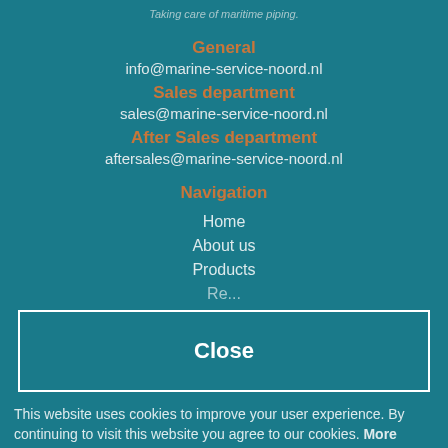Taking care of maritime piping.
General
info@marine-service-noord.nl
Sales department
sales@marine-service-noord.nl
After Sales department
aftersales@marine-service-noord.nl
Navigation
Home
About us
Products
Re...
Close
This website uses cookies to improve your user experience. By continuing to visit this website you agree to our cookies. More information